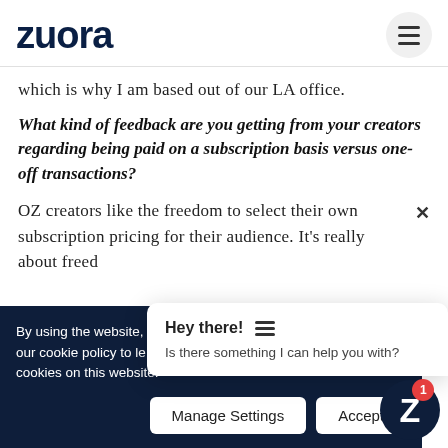Zuora
which is why I am based out of our LA office.
What kind of feedback are you getting from your creators regarding being paid on a subscription basis versus one-off transactions?
OZ creators like the freedom to select their own subscription pricing for their audience. It’s really about freed
Hey there! Is there something I can help you with?
By using the website, your cookie policy to le cookies on this website.
Manage Settings  Accept